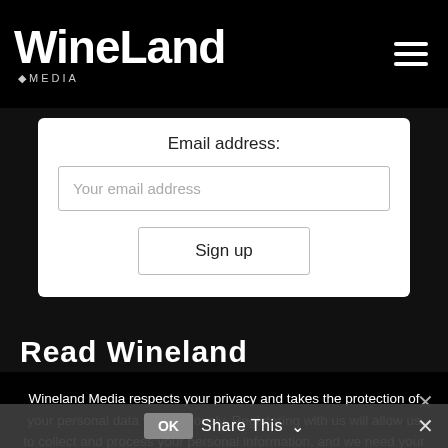WineLand MEDIA
Email address:
Your email address
Sign up
Read Wineland
Wineland Media respects your privacy and takes the protection of your personal data very seriously. Registering with us will allow us to collect and process your personal information, and we need your consent. By accepting you consent to Wineland Media to collect and process my personal information, for purposes of my application.
View Privacy Policy
OK
Share This